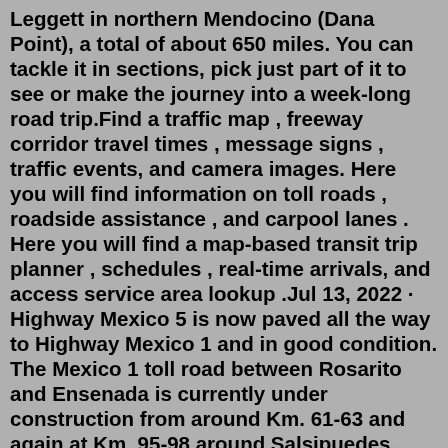Leggett in northern Mendocino (Dana Point), a total of about 650 miles. You can tackle it in sections, pick just part of it to see or make the journey into a week-long road trip.Find a traffic map , freeway corridor travel times , message signs , traffic events, and camera images. Here you will find information on toll roads , roadside assistance , and carpool lanes . Here you will find a map-based transit trip planner , schedules , real-time arrivals, and access service area lookup .Jul 13, 2022 · Highway Mexico 5 is now paved all the way to Highway Mexico 1 and in good condition. The Mexico 1 toll road between Rosarito and Ensenada is currently under construction from around Km. 61-63 and again at Km. 95-98 around Salsipuedes. Drive slowly and with caution. Mexico 1 through Maneadero has many potholes. Expect to drive slowly. Sep 04, 2021 · The 2020 SHOPP, approved in May 2020, included the following NEW Long Lead Bridge Preservation item of interest: 10-Mariposa-140 PM 37.0/43.3 PPNO 3299 Proj ID 1012000010 EA 0X760. Route 140 near Midpines at